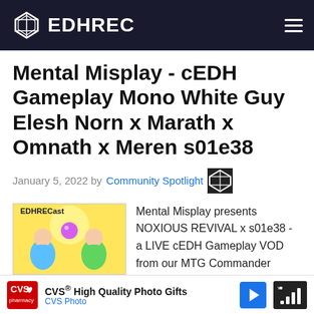EDHREC
Mental Misplay - cEDH Gameplay Mono White Guy Elesh Norn x Marath x Omnath x Meren s01e38
January 5, 2022 by Community Spotlight
[Figure (illustration): EDHRECast cartoon logo with two illustrated characters and colorful background]
Mental Misplay presents NOXIOUS REVIVAL x s01e38 - a LIVE cEDH Gameplay VOD from our MTG Commander streams uploaded every weekday!!! In this game we have Elesh Norn, Grand Cenobite x Marath, Will of the Wild, x Omnath, Locust of Creation x Meren of Clan Nel Toth Can't usually make it to li...
[Figure (advertisement): CVS High Quality Photo Gifts - CVS Photo advertisement banner]